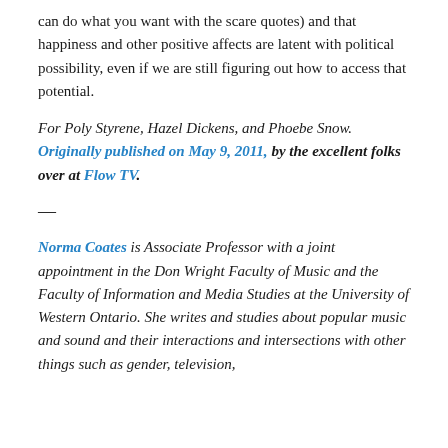can do what you want with the scare quotes) and that happiness and other positive affects are latent with political possibility, even if we are still figuring out how to access that potential.
For Poly Styrene, Hazel Dickens, and Phoebe Snow. Originally published on May 9, 2011, by the excellent folks over at Flow TV.
—
Norma Coates is Associate Professor with a joint appointment in the Don Wright Faculty of Music and the Faculty of Information and Media Studies at the University of Western Ontario. She writes and studies about popular music and sound and their interactions and intersections with other things such as gender, television,